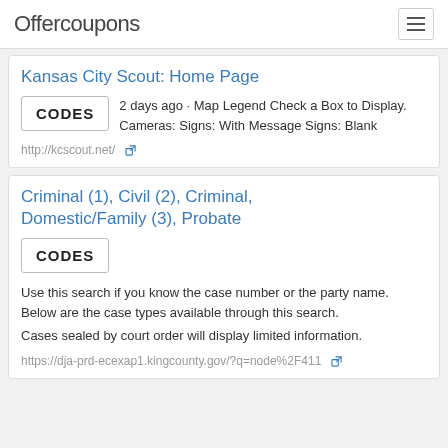Offercoupons
Kansas City Scout: Home Page
2 days ago · Map Legend Check a Box to Display. Cameras: Signs: With Message Signs: Blank
http://kcscout.net/
Criminal (1), Civil (2), Criminal, Domestic/Family (3), Probate
Use this search if you know the case number or the party name. Below are the case types available through this search. Cases sealed by court order will display limited information.
https://dja-prd-ecexap1.kingcounty.gov/?q=node%2F411